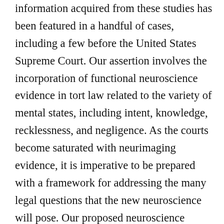information acquired from these studies has been featured in a handful of cases, including a few before the United States Supreme Court. Our assertion involves the incorporation of functional neuroscience evidence in tort law related to the variety of mental states, including intent, knowledge, recklessness, and negligence. As the courts become saturated with neurimaging evidence, it is imperative to be prepared with a framework for addressing the many legal questions that the new neuroscience will pose. Our proposed neuroscience model of tort law is both simple and complex. Its simplicity lies in a workable framework for allowing the law to move forward while incorporating functional neuroimaging evidence in tort law. Its complexity is in the challenges posed by the interpretation of the neuroscience data